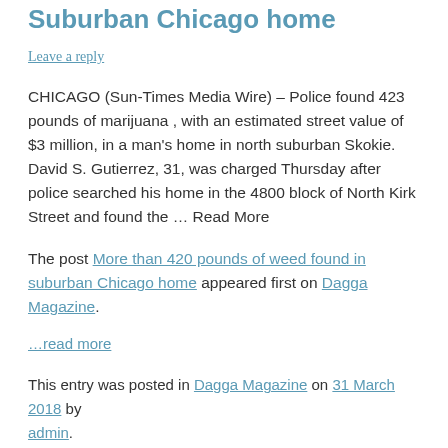Suburban Chicago home
Leave a reply
CHICAGO (Sun-Times Media Wire) – Police found 423 pounds of marijuana , with an estimated street value of $3 million, in a man's home in north suburban Skokie. David S. Gutierrez, 31, was charged Thursday after police searched his home in the 4800 block of North Kirk Street and found the … Read More
The post More than 420 pounds of weed found in suburban Chicago home appeared first on Dagga Magazine.
…read more
This entry was posted in Dagga Magazine on 31 March 2018 by admin.